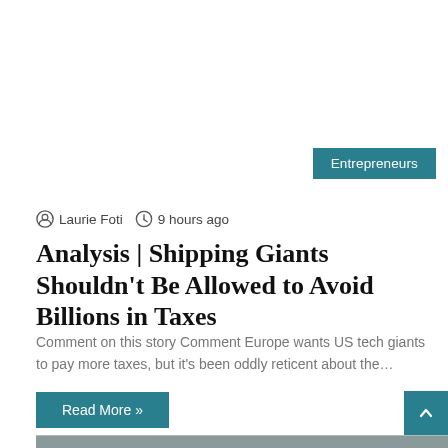Entrepreneurs
Laurie Foti  9 hours ago
Analysis | Shipping Giants Shouldn't Be Allowed to Avoid Billions in Taxes
Comment on this story Comment Europe wants US tech giants to pay more taxes, but it's been oddly reticent about the...
Read More »
[Figure (photo): Mountain rocky landscape with a person climbing, cloudy sky background]